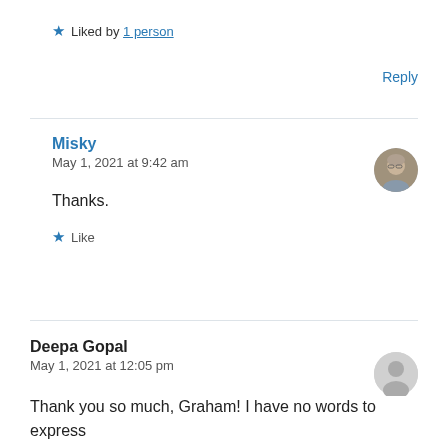★ Liked by 1 person
Reply
Misky
May 1, 2021 at 9:42 am
Thanks.
★ Like
Deepa Gopal
May 1, 2021 at 12:05 pm
Thank you so much, Graham! I have no words to express